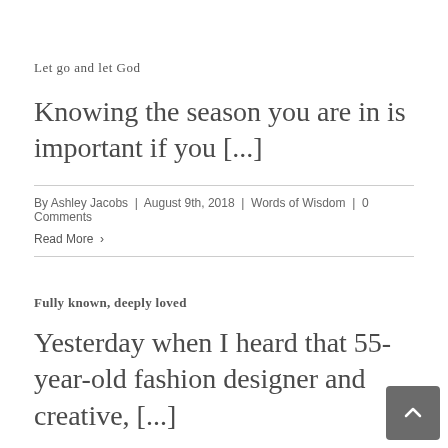Let go and let God
Knowing the season you are in is important if you [...]
By Ashley Jacobs | August 9th, 2018 | Words of Wisdom | 0 Comments
Read More >
Fully known, deeply loved
Yesterday when I heard that 55-year-old fashion designer and creative, [...]